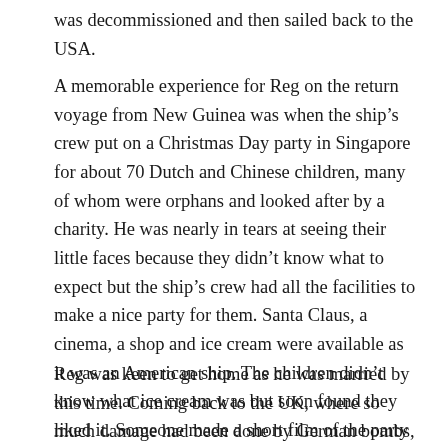was decommissioned and then sailed back to the USA.
A memorable experience for Reg on the return voyage from New Guinea was when the ship’s crew put on a Christmas Day party in Singapore for about 70 Dutch and Chinese children, many of whom were orphans and looked after by a charity. He was nearly in tears at seeing their little faces because they didn’t know what to expect but the ship’s crew had all the facilities to make a nice party for them. Santa Claus, a cinema, a shop and ice cream were available as it was an American ship. The children didn’t know what ice cream was but soon found they liked it. Someone made a short film of the party which ended up in Imperial War Museum in London. Reg has a copy of it.
Reg was keen to get home as he was married by this time. Coming back to the UK, where so much damage had been done by German bombs, meant a new post war life for him and his wife. Reg had married when he was on leave from